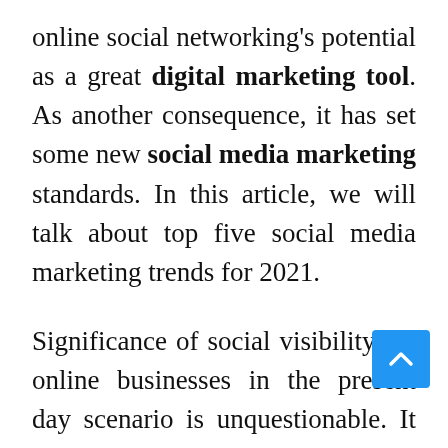online social networking's potential as a great digital marketing tool. As another consequence, it has set some new social media marketing standards. In this article, we will talk about top five social media marketing trends for 2021.
Significance of social visibility for online businesses in the present day scenario is unquestionable. It plays a vital role in an organization's Google search ranking and overall virtual presence. Efficient management of social media handles can help businesses in creating brand awareness, generating more leads, driving more sales